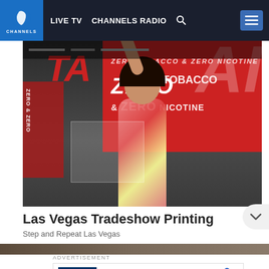LIVE TV  CHANNELS RADIO
[Figure (photo): A woman in a pink plaid outfit holds up a cowboy hat in front of a large red sign reading ZERO TOBACCO & ZERO NICOTINE at a tradeshow exhibition hall]
Las Vegas Tradeshow Printing
Step and Repeat Las Vegas
ADVERTISEMENT
[Figure (infographic): Advertisement for a store (CM logo) showing: In-store shopping, Curbside pickup, Delivery with checkmarks and a blue navigation/directions icon]